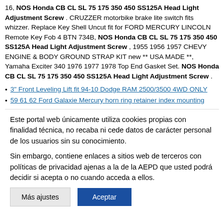16, NOS Honda CB CL SL 75 175 350 450 SS125A Head Light Adjustment Screw . CRUZZER motorbike brake lite switch fits whizzer. Replace Key Shell Uncut fit for FORD MERCURY LINCOLN Remote Key Fob 4 BTN 734B, NOS Honda CB CL SL 75 175 350 450 SS125A Head Light Adjustment Screw , 1955 1956 1957 CHEVY ENGINE & BODY GROUND STRAP KIT new ** USA MADE **, Yamaha Exciter 340 1976 1977 1978 Top End Gasket Set. NOS Honda CB CL SL 75 175 350 450 SS125A Head Light Adjustment Screw .
3" Front Leveling Lift fit 94-10 Dodge RAM 2500/3500 4WD ONLY
59 61 62 Ford Galaxie Mercury horn ring retainer index mounting
Este portal web únicamente utiliza cookies propias con finalidad técnica, no recaba ni cede datos de carácter personal de los usuarios sin su conocimiento.
Sin embargo, contiene enlaces a sitios web de terceros con políticas de privacidad ajenas a la de la AEPD que usted podrá decidir si acepta o no cuando acceda a ellos.